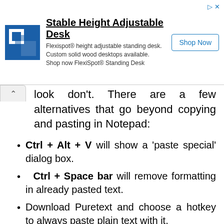[Figure (other): Advertisement banner for Flexispot height adjustable standing desk with logo, text, and Shop Now button]
look don't. There are a few alternatives that go beyond copying and pasting in Notepad:
Ctrl + Alt + V will show a 'paste special' dialog box.
Ctrl + Space bar will remove formatting in already pasted text.
Download Puretext and choose a hotkey to always paste plain text with it.
S + Right Click